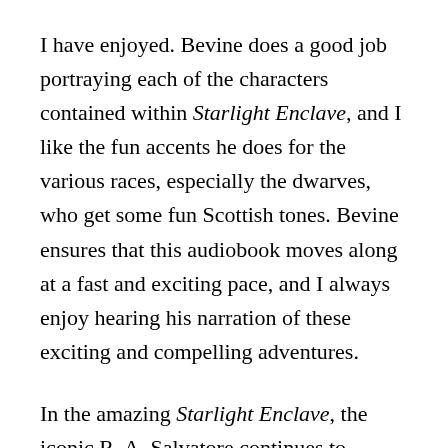I have enjoyed.  Bevine does a good job portraying each of the characters contained within Starlight Enclave, and I like the fun accents he does for the various races, especially the dwarves, who get some fun Scottish tones.  Bevine ensures that this audiobook moves along at a fast and exciting pace, and I always enjoy hearing his narration of these exciting and compelling adventures.
In the amazing Starlight Enclave, the iconic R. A. Salvatore continues to expand his impressive and long-running Drizzt Do'Urden series with another bold adventure novel.  This great novel does an awesome job setting up the cool new The Way of the Drow trilogy with a unique and exciting story and some compelling